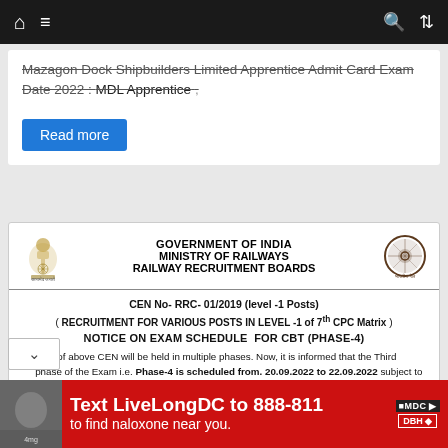Navigation bar with home, menu, search, shuffle icons
Mazagon Dock Shipbuilders Limited Apprentice Admit Card Exam Date 2022 : MDL Apprentice ,
Read more
[Figure (logo): Government of India emblem (Ashoka Pillar)]
GOVERNMENT OF INDIA
MINISTRY OF RAILWAYS
RAILWAY RECRUITMENT BOARDS
[Figure (logo): Indian Railways circular logo]
CEN No- RRC- 01/2019 (level -1 Posts)
( RECRUITMENT FOR VARIOUS POSTS IN LEVEL -1 of 7th CPC Matrix )
NOTICE ON EXAM SCHEDULE FOR CBT (PHASE-4)
CBT of above CEN will be held in multiple phases. Now, it is informed that the Third phase of the Exam i.e. Phase-4 is scheduled from. 20.09.2022 to 22.09.2022 subject to the prevailing conditions and Government guidelines issued from time to time in view of handling of the Covid-19 pandemic.
[Figure (photo): Advertisement banner: Text LiveLongDC to 888-811 to find naloxone near you.]